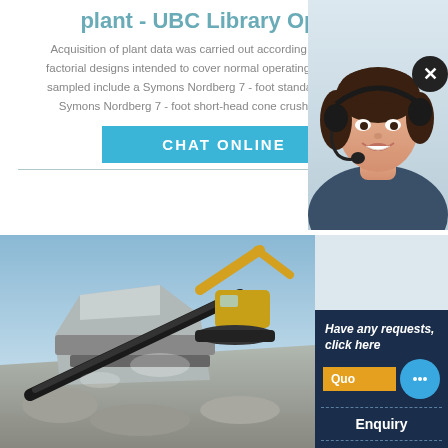plant - UBC Library Open ...
Acquisition of plant data was carried out according to full or modified factorial designs intended to cover normal operating ranges. The units sampled include a Symons Nordberg 7 - foot standard cone crusher... Symons Nordberg 7 - foot short-head cone crusher and two Allis-
[Figure (other): Teal/blue CHAT ONLINE button]
[Figure (photo): Customer service agent (woman with headset) photo on right side overlay]
[Figure (photo): Excavator and rock crusher machinery at a quarry/mining site]
Have any requests, click here
Quo
Enquiry
limingjlmofen@sina.com